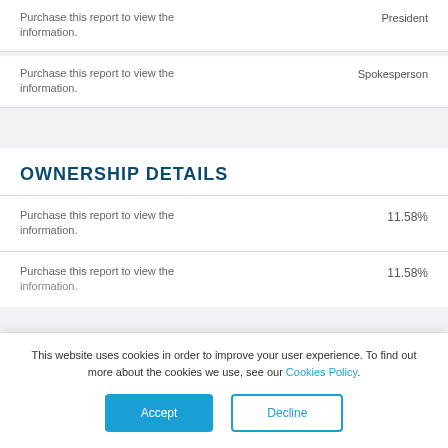| Name/Info | Role |
| --- | --- |
| Purchase this report to view the information. | President |
| Purchase this report to view the information. | Spokesperson |
OWNERSHIP DETAILS
| Name/Info | Ownership % |
| --- | --- |
| Purchase this report to view the information. | 11.58% |
| Purchase this report to view the information. | 11.58% |
This website uses cookies in order to improve your user experience. To find out more about the cookies we use, see our Cookies Policy.